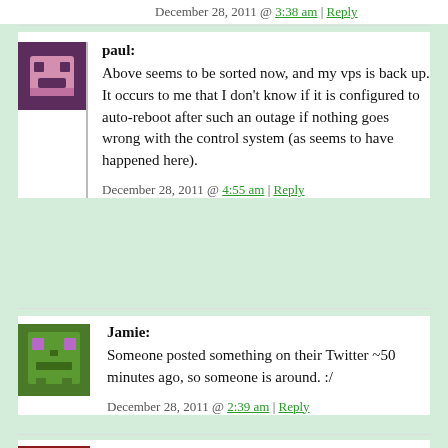December 28, 2011 @ 3:38 am | Reply
paul: Above seems to be sorted now, and my vps is back up. It occurs to me that I don't know if it is configured to auto-reboot after such an outage if nothing goes wrong with the control system (as seems to have happened here).
December 28, 2011 @ 4:55 am | Reply
Jamie: Someone posted something on their Twitter ~50 minutes ago, so someone is around. :/
December 28, 2011 @ 2:39 am | Reply
HuluWa: